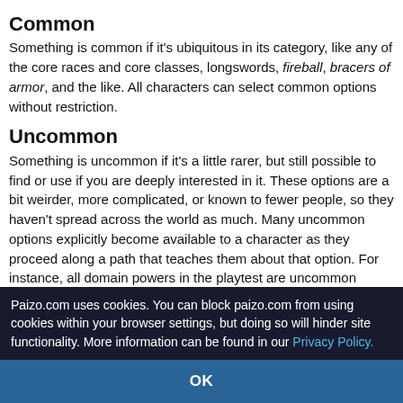Common
Something is common if it's ubiquitous in its category, like any of the core races and core classes, longswords, fireball, bracers of armor, and the like. All characters can select common options without restriction.
Uncommon
Something is uncommon if it's a little rarer, but still possible to find or use if you are deeply interested in it. These options are a bit weirder, more complicated, or known to fewer people, so they haven't spread across the world as much. Many uncommon options explicitly become available to a character as they proceed along a path that teaches them about that option. For instance, all domain powers in the playtest are uncommon spells, but
Paizo.com uses cookies. You can block paizo.com from using cookies within your browser settings, but doing so will hinder site functionality. More information can be found in our Privacy Policy.
OK